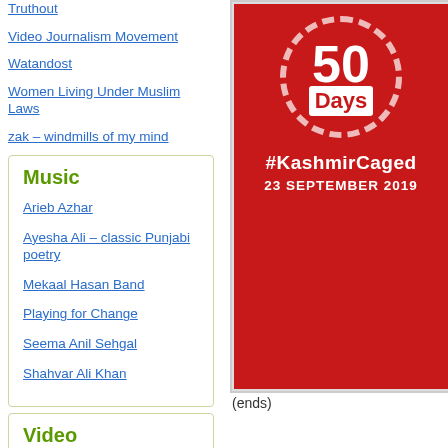Truthout
Video Journalism Movement
Watandost
Women Living Under Muslim Laws
zak – windmills of my mind
Music
Arieb Azhar
Ayesha Ali – classic Punjabi poetry
Mekaal Hasan Band
Playing for Change
Seema Anil Sehgal
Shahvar Ali Khan
Video
[Figure (photo): Red poster with circular stamp badge showing '50 Days', hashtag #KashmirCaged and date 23 SEPTEMBER 2019]
(ends)